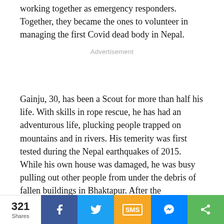working together as emergency responders. Together, they became the ones to volunteer in managing the first Covid dead body in Nepal.
Advertisement
Gainju, 30, has been a Scout for more than half his life. With skills in rope rescue, he has had an adventurous life, plucking people trapped on mountains and in rivers. His temerity was first tested during the Nepal earthquakes of 2015. While his own house was damaged, he was busy pulling out other people from under the debris of fallen buildings in Bhaktapur. After the earthquake, he traveled to different districts as a volunteer to rebuild public schools.
321 Shares | Facebook | Twitter | SMS | Messenger | Share